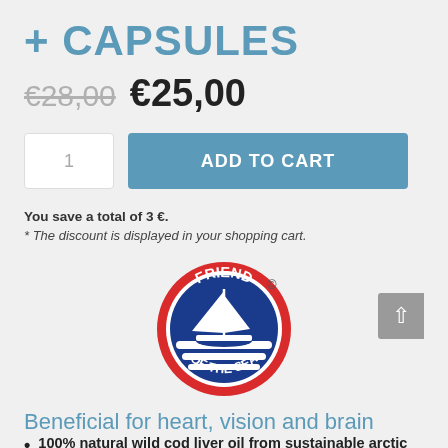+ CAPSULES
€28,00 €25,00
1  ADD TO CART
You save a total of 3 €.
* The discount is displayed in your shopping cart.
[Figure (logo): Friend of the Sea circular logo with red border, blue center, white sailboat and waves, and copyright symbol]
Beneficial for heart, vision and brain
100% natural wild cod liver oil from sustainable arctic